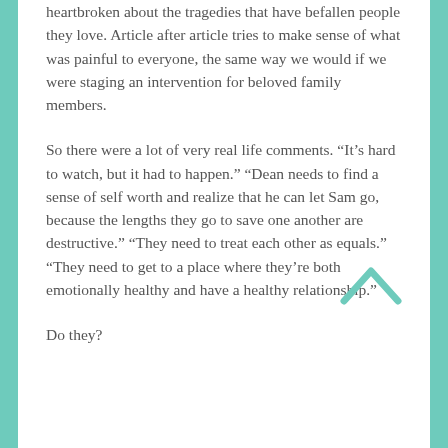heartbroken about the tragedies that have befallen people they love. Article after article tries to make sense of what was painful to everyone, the same way we would if we were staging an intervention for beloved family members.
So there were a lot of very real life comments. “It’s hard to watch, but it had to happen.” “Dean needs to find a sense of self worth and realize that he can let Sam go, because the lengths they go to save one another are destructive.” “They need to treat each other as equals.” “They need to get to a place where they’re both emotionally healthy and have a healthy relationship.”
Do they?